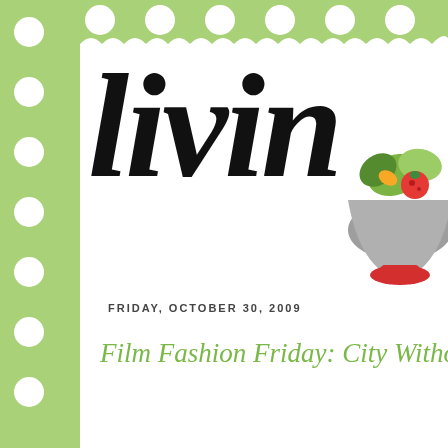[Figure (illustration): Blog header page with green polka-dot background, white stamp-like card, script title 'livin', decorative salad bowl illustration in top right corner]
livin
FRIDAY, OCTOBER 30, 2009
Film Fashion Friday: City Withou